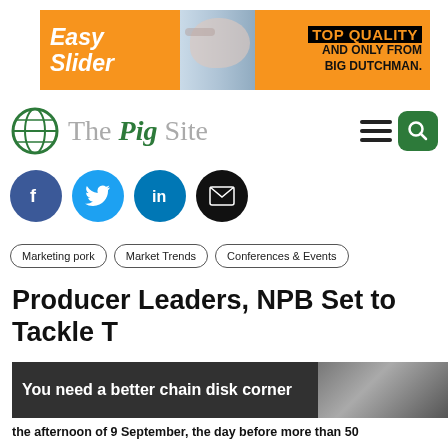[Figure (photo): Banner advertisement for Big Dutchman Easy Slider — orange background with pig farm photo and text TOP QUALITY AND ONLY FROM BIG DUTCHMAN.]
[Figure (logo): The Pig Site logo with green globe icon, hamburger menu and green search button]
[Figure (infographic): Social media share icons: Facebook (dark blue), Twitter (light blue), LinkedIn (medium blue), Email (black)]
Marketing pork
Market Trends
Conferences & Events
Producer Leaders, NPB Set to Tackle T...
[Figure (photo): Second advertisement overlay: dark background with text 'You need a better chain disk corner' and machinery photo on right]
the afternoon of 9 September, the day before more than 50